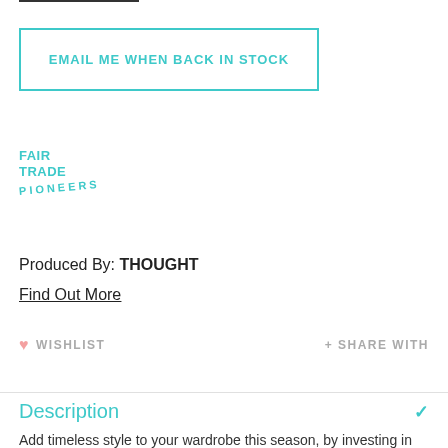[Figure (other): Button: EMAIL ME WHEN BACK IN STOCK with teal border]
[Figure (logo): Fair Trade Pioneers logo text in teal]
Produced By: THOUGHT
Find Out More
♥ WISHLIST   + SHARE WITH
Description
Add timeless style to your wardrobe this season, by investing in this classic Bodil cardigan from Thought Clothing. Effortlessly elevating...